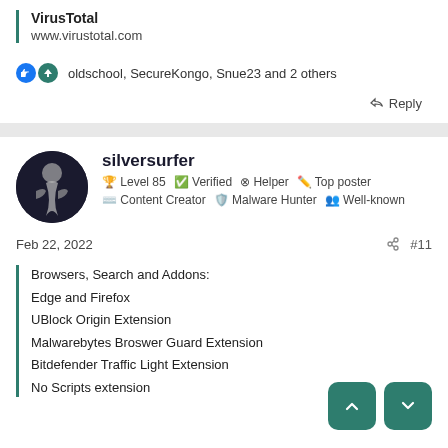VirusTotal
www.virustotal.com
oldschool, SecureKongo, Snue23 and 2 others
Reply
silversurfer
🏆 Level 85 ✅ Verified 🎯 Helper ✏️ Top poster
⌨️ Content Creator 🛡️ Malware Hunter 👥 Well-known
Feb 22, 2022
#11
Browsers, Search and Addons:
Edge and Firefox
UBlock Origin Extension
Malwarebytes Broswer Guard Extension
Bitdefender Traffic Light Extension
No Scripts extension